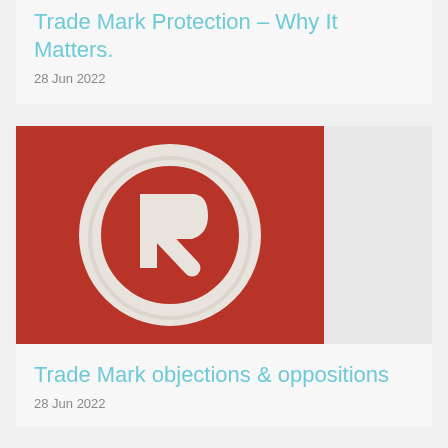Trade Mark Protection – Why It Matters.
28 Jun 2022
[Figure (photo): A white 3D registered trademark symbol (R in a circle) on a red background, with a grey/white area to the right]
Trade Mark objections & oppositions
28 Jun 2022